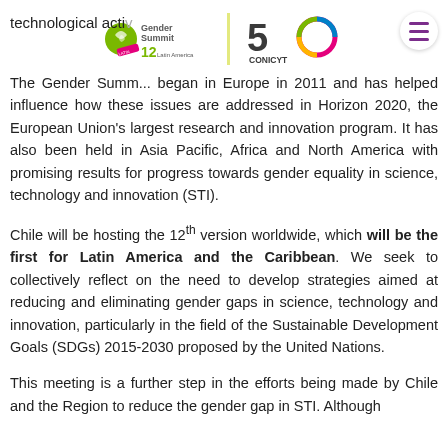technological activ... [Gender Summit 12 Latin America / CONICYT 50 logos]
The Gender Summ... began in Europe in 2011 and has helped influence how these issues are addressed in Horizon 2020, the European Union's largest research and innovation program. It has also been held in Asia Pacific, Africa and North America with promising results for progress towards gender equality in science, technology and innovation (STI).
Chile will be hosting the 12th version worldwide, which will be the first for Latin America and the Caribbean. We seek to collectively reflect on the need to develop strategies aimed at reducing and eliminating gender gaps in science, technology and innovation, particularly in the field of the Sustainable Development Goals (SDGs) 2015-2030 proposed by the United Nations.
This meeting is a further step in the efforts being made by Chile and the Region to reduce the gender gap in STI. Although